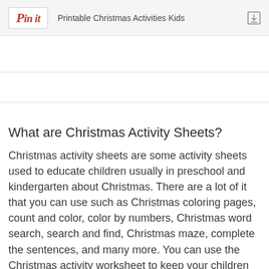Pin it  Printable Christmas Activities Kids
What are Christmas Activity Sheets?
Christmas activity sheets are some activity sheets used to educate children usually in preschool and kindergarten about Christmas. There are a lot of it that you can use such as Christmas coloring pages, count and color, color by numbers, Christmas word search, search and find, Christmas maze, complete the sentences, and many more. You can use the Christmas activity worksheet to keep your children busy during the holiday. They will be able to keep learning and playing even when they are not going to school. Create an advent activity calendar for them. Plan the whole activity during the holiday so